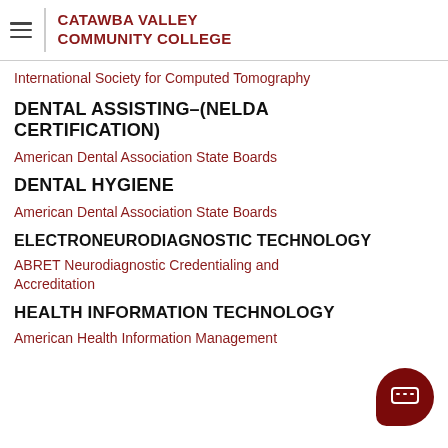CATAWBA VALLEY COMMUNITY COLLEGE
International Society for Computed Tomography
DENTAL ASSISTING–(NELDA CERTIFICATION)
American Dental Association State Boards
DENTAL HYGIENE
American Dental Association State Boards
ELECTRONEURODIAGNOSTIC TECHNOLOGY
ABRET Neurodiagnostic Credentialing and Accreditation
HEALTH INFORMATION TECHNOLOGY
American Health Information Management